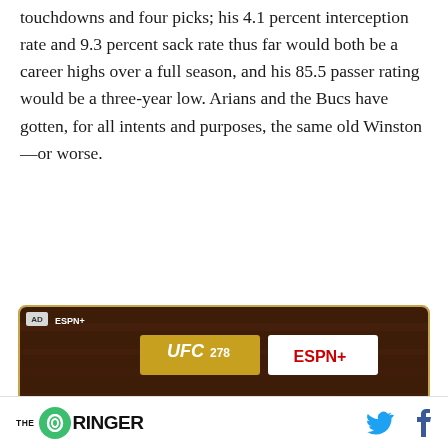touchdowns and four picks; his 4.1 percent interception rate and 9.3 percent sack rate thus far would both be a career highs over a full season, and his 85.5 passer rating would be a three-year low. Arians and the Bucs have gotten, for all intents and purposes, the same old Winston—or worse.
[Figure (screenshot): Advertisement for UFC 278 Welterweight Championship - Usman vs [opponent], shown on ESPN+. Dark wood-textured background with gold/yellow border. Shows UFC 278 logo, ESPN+ logo, 'WELTERWEIGHT CHAMPIONSHIP' banner, and 'USMAN VS' text.]
THE RINGER [logo] [Twitter icon] [Facebook icon]